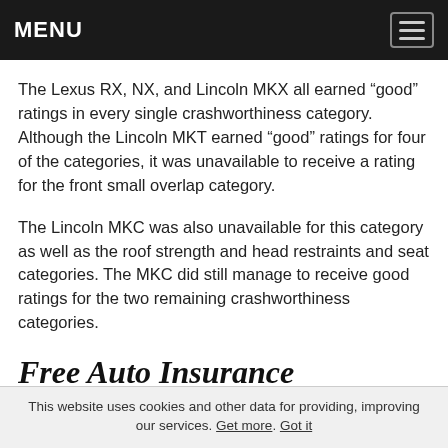MENU
The Lexus RX, NX, and Lincoln MKX all earned “good” ratings in every single crashworthiness category. Although the Lincoln MKT earned “good” ratings for four of the categories, it was unavailable to receive a rating for the front small overlap category.
The Lincoln MKC was also unavailable for this category as well as the roof strength and head restraints and seat categories. The MKC did still manage to receive good ratings for the two remaining crashworthiness categories.
Free Auto Insurance
This website uses cookies and other data for providing, improving our services. Get more. Got it